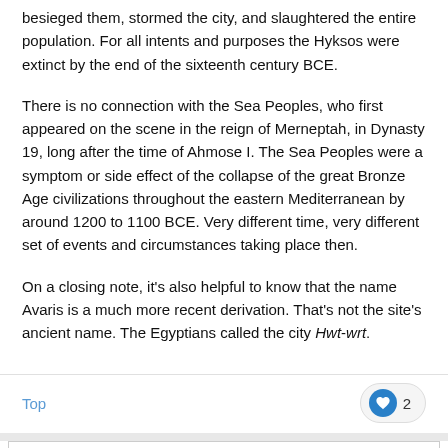besieged them, stormed the city, and slaughtered the entire population. For all intents and purposes the Hyksos were extinct by the end of the sixteenth century BCE.
There is no connection with the Sea Peoples, who first appeared on the scene in the reign of Merneptah, in Dynasty 19, long after the time of Ahmose I. The Sea Peoples were a symptom or side effect of the collapse of the great Bronze Age civilizations throughout the eastern Mediterranean by around 1200 to 1100 BCE. Very different time, very different set of events and circumstances taking place then.
On a closing note, it's also helpful to know that the name Avaris is a much more recent derivation. That's not the site's ancient name. The Egyptians called the city Hwt-wrt.
Top
You May Like
Sponsored Links by Taboola
[Figure (photo): Two thumbnail images below You May Like section - left shows a person, right shows a dark outdoor scene]